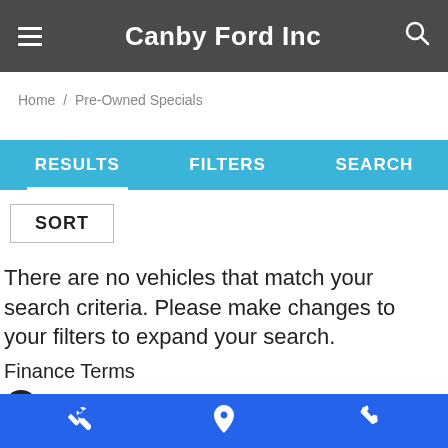Canby Ford Inc
Home / Pre-Owned Specials
RESULTS  FILTERS  SEARCH
SORT
There are no vehicles that match your search criteria. Please make changes to your filters to expand your search.
Finance Terms
Down payment